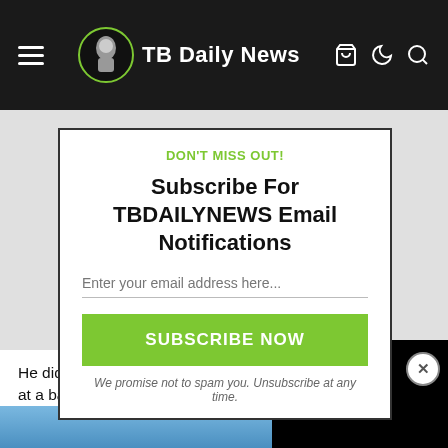TB Daily News
DON'T MISS OUT!
Subscribe For TBDAILYNEWS Email Notifications
Enter your email address here...
SUBSCRIBE NOW
We promise not to spam you. Unsubscribe at any time.
He didn't shy away from it either. at a back the blue rally at the Sta